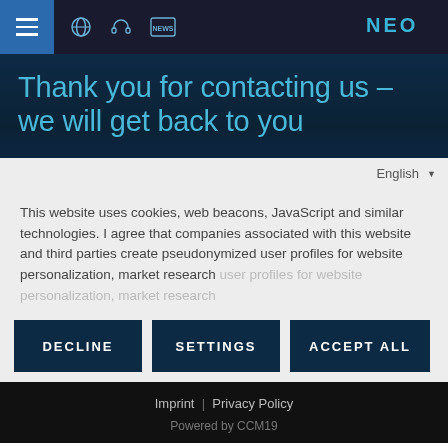NEO website navigation bar with hamburger menu, globe, headset, news icons and NEO logo
Thank you for contacting us – we will get back to you
English
This website uses cookies, web beacons, JavaScript and similar technologies. I agree that companies associated with this website and third parties create pseudonymized user profiles for website personalization, market research
DECLINE
SETTINGS
ACCEPT ALL
Imprint | Privacy Policy
Powered by CCM19